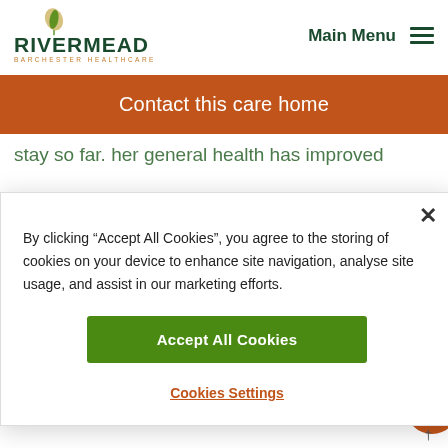[Figure (logo): Rivermead Barchester Healthcare logo with leaf icon]
Main Menu
Contact this care home
stay so far. her general health has improved
By clicking “Accept All Cookies”, you agree to the storing of cookies on your device to enhance site navigation, analyse site usage, and assist in our marketing efforts.
Accept All Cookies
Cookies Settings